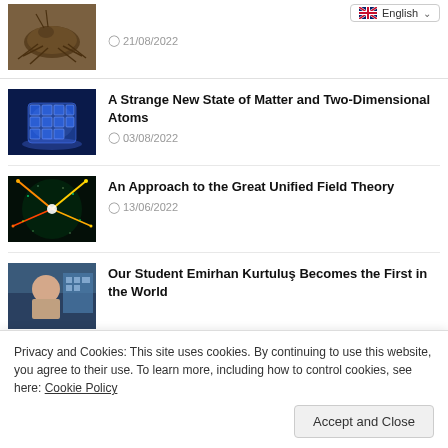[Figure (screenshot): Language selector dropdown showing English with UK flag]
[Figure (photo): Close-up photo of a cockroach]
21/08/2022
[Figure (photo): Blue glowing 3D grid/quantum matter visualization]
A Strange New State of Matter and Two-Dimensional Atoms
03/08/2022
[Figure (photo): Particle collision visualization with colorful light trails]
An Approach to the Great Unified Field Theory
13/06/2022
[Figure (photo): Student Emirhan Kurtuluş portrait photo]
Our Student Emirhan Kurtuluş Becomes the First in the World
Privacy and Cookies: This site uses cookies. By continuing to use this website, you agree to their use. To learn more, including how to control cookies, see here: Cookie Policy
Accept and Close